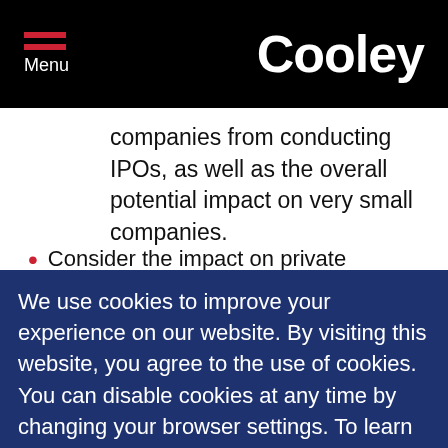Menu | Cooley
companies from conducting IPOs, as well as the overall potential impact on very small companies.
Consider the impact on private companies or public companies' potential reluctance to include them in the value chain.
...specific reporting requirements
Treat the disclosure as "furnished," not filed.
Delay the disclosure due date and delay the general phase-in dates to give companies
We use cookies to improve your experience on our website. By visiting this website, you agree to the use of cookies. You can disable cookies at any time by changing your browser settings. To learn more about how we use cookies, please see our Cookie Policy.
Dismiss